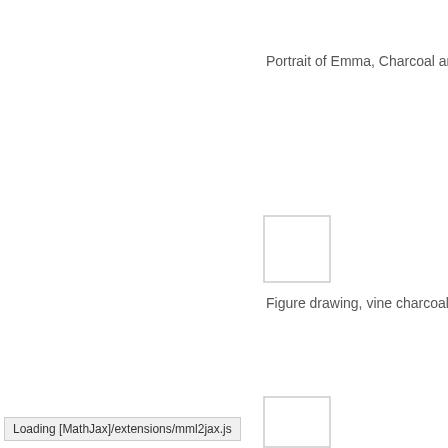Portrait of Emma, Charcoal and Cas
[Figure (illustration): Small white rectangle with light gray border, representing a placeholder image for an artwork]
Figure drawing, vine charcoal on re
[Figure (illustration): Small white rectangle with light gray border at bottom of page, representing a placeholder image for another artwork]
Loading [MathJax]/extensions/mml2jax.js